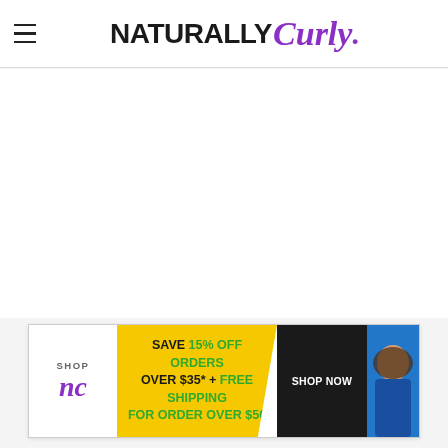NaturallyCurly
[Figure (screenshot): NaturallyCurly website page showing a white content area with a navigation header and an advertisement banner at the bottom. The header shows a hamburger menu icon on the left and the NaturallyCurly logo centered. At the bottom is an ad for Shop NC: SAVE 15% OFF ORDERS OVER $35* + FREE SHIPPING FOR ORDER OVER $50 with a SHOP NOW button.]